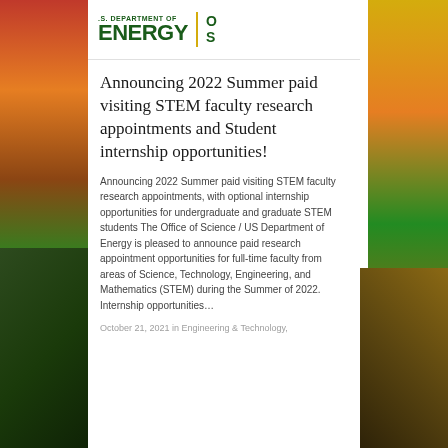[Figure (logo): U.S. Department of Energy / Office of Science logo with green text and gold divider]
Announcing 2022 Summer paid visiting STEM faculty research appointments and Student internship opportunities!
Announcing 2022 Summer paid visiting STEM faculty research appointments, with optional internship opportunities for undergraduate and graduate STEM students The Office of Science / US Department of Energy is pleased to announce paid research appointment opportunities for full-time faculty from areas of Science, Technology, Engineering, and Mathematics (STEM) during the Summer of 2022. Internship opportunities…
October 21, 2021 in Engineering & Technology,